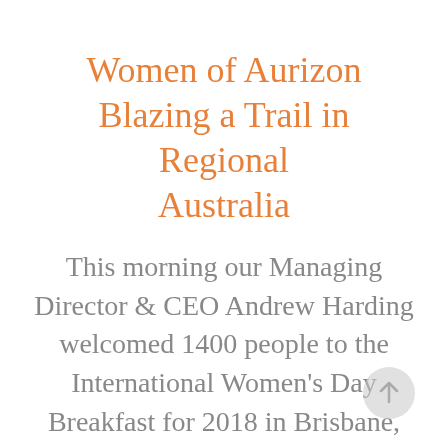Women of Aurizon Blazing a Trail in Regional Australia
This morning our Managing Director & CEO Andrew Harding welcomed 1400 people to the International Women's Day Breakfast for 2018 in Brisbane, hosted by the UN Women National Committee Australia